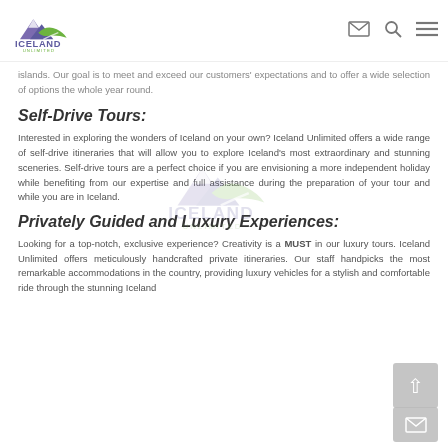[Figure (logo): Iceland Unlimited logo — mountain/wave graphic with purple and green colors, text ICELAND UNLIMITED below]
islands. Our goal is to meet and exceed our customers' expectations and to offer a wide selection of options the whole year round.
Self-Drive Tours:
Interested in exploring the wonders of Iceland on your own? Iceland Unlimited offers a wide range of self-drive itineraries that will allow you to explore Iceland's most extraordinary and stunning sceneries. Self-drive tours are a perfect choice if you are envisioning a more independent holiday while benefiting from our expertise and full assistance during the preparation of your tour and while you are in Iceland.
Privately Guided and Luxury Experiences:
Looking for a top-notch, exclusive experience? Creativity is a MUST in our luxury tours. Iceland Unlimited offers meticulously handcrafted private itineraries. Our staff handpicks the most remarkable accommodations in the country, providing luxury vehicles for a stylish and comfortable ride through the stunning Iceland